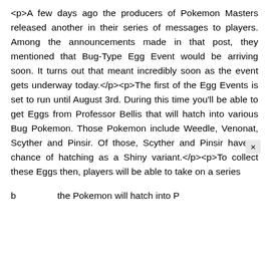<p>A few days ago the producers of Pokemon Masters released another in their series of messages to players. Among the announcements made in that post, they mentioned that Bug-Type Egg Event would be arriving soon. It turns out that meant incredibly soon as the event gets underway today.</p><p>The first of the Egg Events is set to run until August 3rd. During this time you'll be able to get Eggs from Professor Bellis that will hatch into various Bug Pokemon. Those Pokemon include Weedle, Venonat, Scyther and Pinsir. Of those, Scyther and Pinsir have a chance of hatching as a Shiny variant.</p><p>To collect these Eggs then, players will be able to take on a series b... the Pokemon will hatch into P...